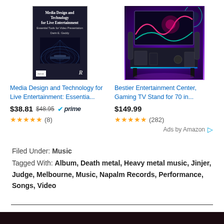[Figure (screenshot): Amazon ad: book cover for 'Media Design and Technology for Live Entertainment: Essentia...' priced at $38.81 (was $48.95), Prime eligible, 4.5 stars (8 reviews)]
[Figure (screenshot): Amazon ad: Bestier Entertainment Center Gaming TV Stand for 70 in... priced at $149.99, 4.5 stars (282 reviews)]
Ads by Amazon
Filed Under: Music
Tagged With: Album, Death metal, Heavy metal music, Jinjer, Judge, Melbourne, Music, Napalm Records, Performance, Songs, Video